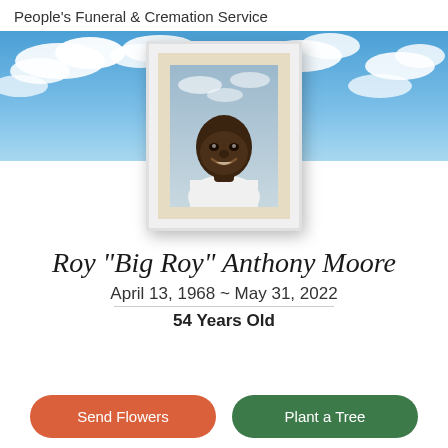People's Funeral & Cremation Service
[Figure (photo): Sky banner with blue sky and white clouds background, with a framed portrait photo of Roy Anthony Moore centered on the banner. The frame is white with a cream/beige mat, and the portrait shows a smiling man in a white shirt against a cloudy background.]
Roy "Big Roy" Anthony Moore
April 13, 1968 ~ May 31, 2022
54 Years Old
Send Flowers
Plant a Tree